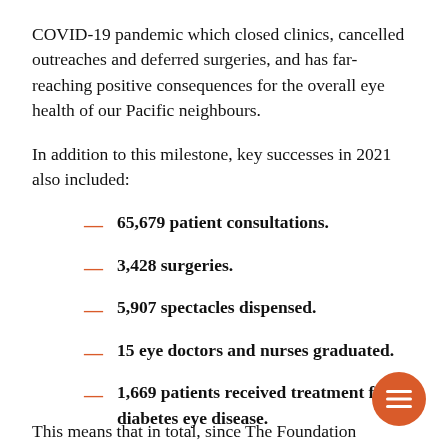COVID-19 pandemic which closed clinics, cancelled outreaches and deferred surgeries, and has far-reaching positive consequences for the overall eye health of our Pacific neighbours.
In addition to this milestone, key successes in 2021 also included:
65,679 patient consultations.
3,428 surgeries.
5,907 spectacles dispensed.
15 eye doctors and nurses graduated.
1,669 patients received treatment for diabetes eye disease.
This means that in total, since The Foundation